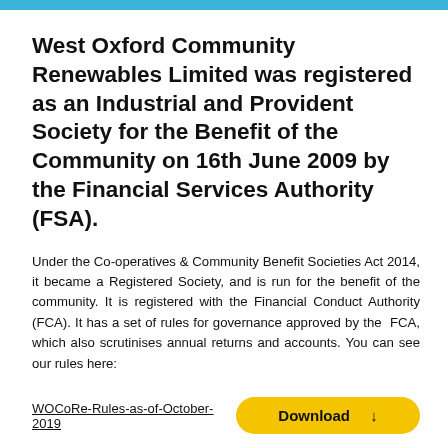West Oxford Community Renewables Limited was registered as an Industrial and Provident Society for the Benefit of the Community on 16th June 2009 by the Financial Services Authority (FSA).
Under the Co-operatives & Community Benefit Societies Act 2014, it became a Registered Society, and is run for the benefit of the community. It is registered with the Financial Conduct Authority (FCA). It has a set of rules for governance approved by the FCA, which also scrutinises annual returns and accounts. You can see our rules here:
WOCoRe-Rules-as-of-October-2019
Download ↓